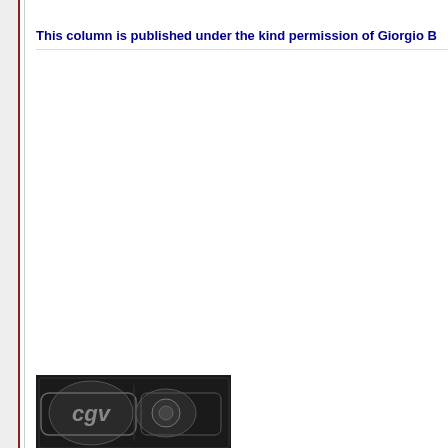This column is published under the kind permission of Giorgio B...
C.J. VAN...
succe... ALEX... MACI... MART...
[Figure (photo): Black and white photograph showing engraved marks/hallmarks, including 'cgv' lettering]
The origin... Alexander... in 1856 (3...